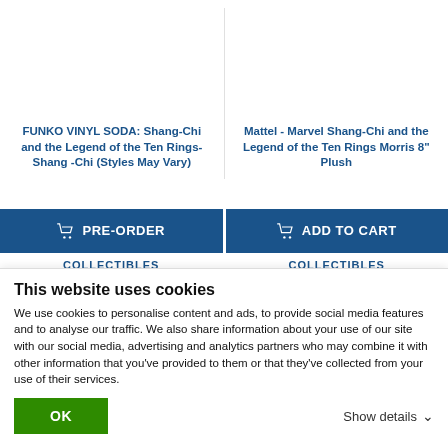FUNKO VINYL SODA: Shang-Chi and the Legend of the Ten Rings- Shang -Chi (Styles May Vary)
Mattel - Marvel Shang-Chi and the Legend of the Ten Rings Morris 8" Plush
PRE-ORDER
ADD TO CART
COLLECTIBLES
COLLECTIBLES
This website uses cookies
We use cookies to personalise content and ads, to provide social media features and to analyse our traffic. We also share information about your use of our site with our social media, advertising and analytics partners who may combine it with other information that you've provided to them or that they've collected from your use of their services.
OK
Show details